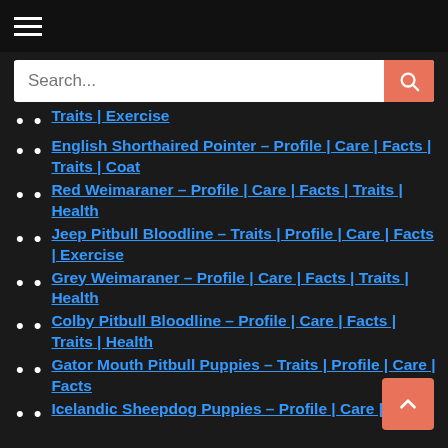Navigation menu / hamburger icon
Search...
Traits | Exercise
English Shorthaired Pointer – Profile | Care | Facts | Traits | Coat
Red Weimaraner – Profile | Care | Facts | Traits | Health
Jeep Pitbull Bloodline – Traits | Profile | Care | Facts | Exercise
Grey Weimaraner – Profile | Care | Facts | Traits | Health
Colby Pitbull Bloodline – Profile | Care | Facts | Traits | Health
Gator Mouth Pitbull Puppies – Traits | Profile | Care | Facts
Icelandic Sheepdog Puppies – Profile | Care |